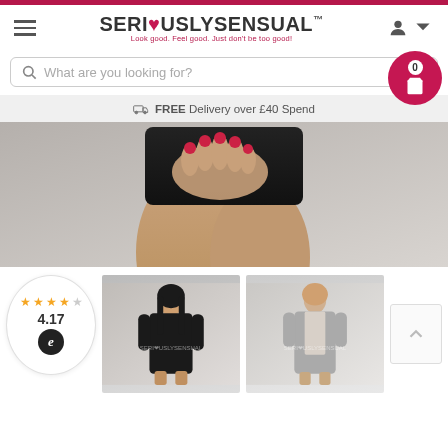[Figure (screenshot): SeriouslySensual e-commerce website screenshot showing header with logo, search bar, delivery info bar, zoomed product image of a black mini skirt, and thumbnail product photos with rating widget]
SERI❤USLYSENSUAL™ — Look good. Feel good. Just don't be too good!
What are you looking for?
FREE Delivery over £40 Spend
Touch to zoom
4.17